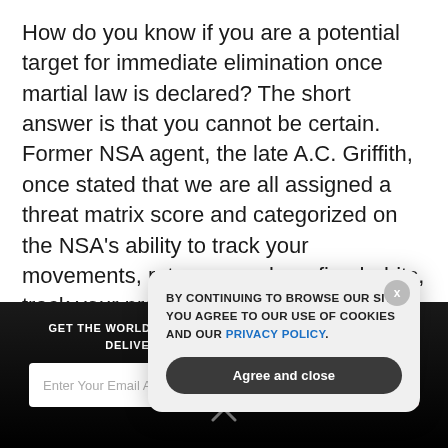How do you know if you are a potential target for immediate elimination once martial law is declared? The short answer is that you cannot be certain. Former NSA agent, the late A.C. Griffith, once stated that we are all assigned a threat matrix score and categorized on the NSA's ability to track your movements, rate your web surfing habits, track your proximity to other known dissidents through cell phone movement matching and quantitatively and qualitatively monitor your electronic communications. Every one of us
GET THE WORLD'S BEST NATURAL HEALTH NEWSLETTER DELIVERED STRAIGHT TO YOUR INBOX
Enter Your Email Address
SUBSCRIBE
[Figure (screenshot): Cookie consent popup overlay with text: BY CONTINUING TO BROWSE OUR SITE YOU AGREE TO OUR USE OF COOKIES AND OUR PRIVACY POLICY. with an 'Agree and close' button and an X close button.]